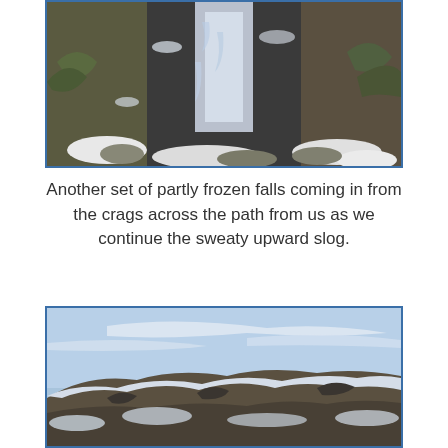[Figure (photo): A partly frozen waterfall cascading down dark rocky crags, with snow-dusted rocks, boulders, and scrubby vegetation surrounding it.]
Another set of partly frozen falls coming in from the crags across the path from us as we continue the sweaty upward slog.
[Figure (photo): A snow-dusted rocky mountain ridge under a blue sky with wispy clouds, showing the steep rugged terrain of the hillside.]